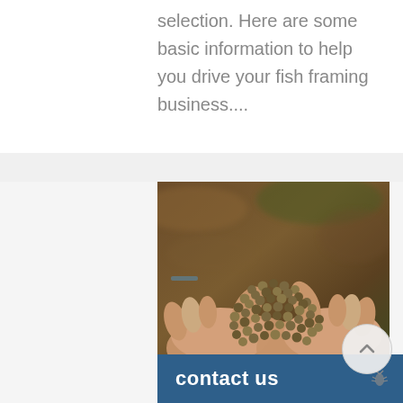selection. Here are some basic information to help you drive your fish framing business....
[Figure (photo): Two cupped hands holding a large pile of small round fish feed pellets, with a blurred brown/green outdoor background.]
contact us